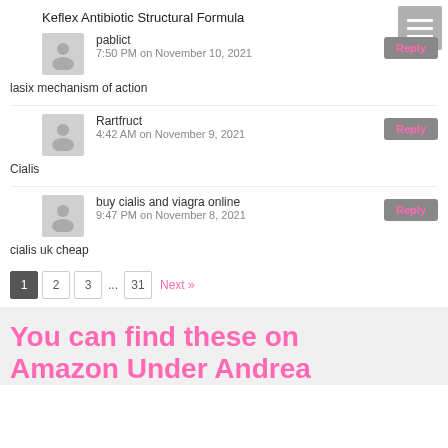Keflex Antibiotic Structural Formula
pablict
7:50 PM on November 10, 2021
lasix mechanism of action
Rartfruct
4:42 AM on November 9, 2021
Cialis
buy cialis and viagra online
9:47 PM on November 8, 2021
cialis uk cheap
1 2 3 ... 31 Next »
You can find these on
Amazon Under Andrea